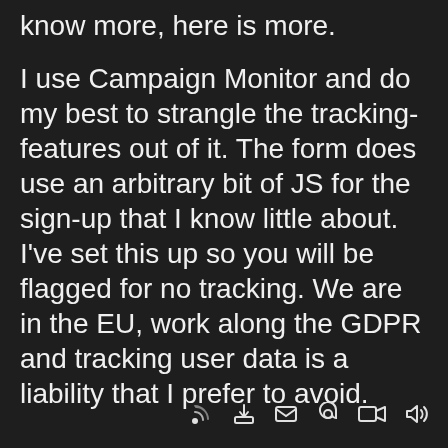know more, here is more.

I use Campaign Monitor and do my best to strangle the tracking-features out of it. The form does use an arbitrary bit of JS for the sign-up that I know little about. I've set this up so you will be flagged for no tracking. We are in the EU, work along the GDPR and tracking user data is a liability that I prefer to avoid.
[Figure (infographic): Row of six small icons: RSS feed, download/inbox, envelope, at-sign, video camera, speaker/audio]